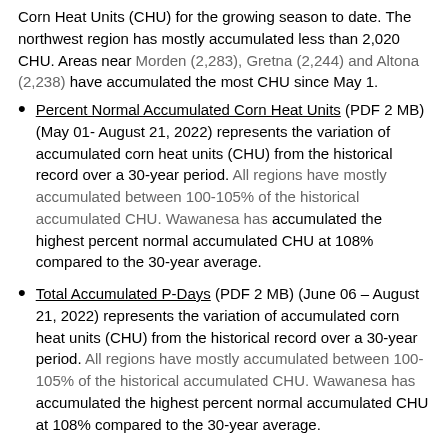Corn Heat Units (CHU) for the growing season to date. The northwest region has mostly accumulated less than 2,020 CHU. Areas near Morden (2,283), Gretna (2,244) and Altona (2,238) have accumulated the most CHU since May 1.
Percent Normal Accumulated Corn Heat Units (PDF 2 MB) (May 01- August 21, 2022) represents the variation of accumulated corn heat units (CHU) from the historical record over a 30-year period. All regions have mostly accumulated between 100-105% of the historical accumulated CHU. Wawanesa has accumulated the highest percent normal accumulated CHU at 108% compared to the 30-year average.
Total Accumulated P-Days (PDF 2 MB) (June 06 – August 21, 2022) represents the variation of accumulated corn heat units (CHU) from the historical record over a 30-year period. All regions have mostly accumulated between 100-105% of the historical accumulated CHU. Wawanesa has accumulated the highest percent normal accumulated CHU at 108% compared to the 30-year average.
Percent of Normal Accumulated P-Days (PDF 2 MB) ...